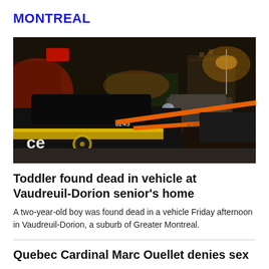MONTREAL
[Figure (photo): Nighttime crime scene photo showing a police car with number 6249, orange crime scene tape stretched across a parking area, and additional vehicles in the background lit by street lights.]
Toddler found dead in vehicle at Vaudreuil-Dorion senior's home
A two-year-old boy was found dead in a vehicle Friday afternoon in Vaudreuil-Dorion, a suburb of Greater Montreal.
Quebec Cardinal Marc Ouellet denies sex